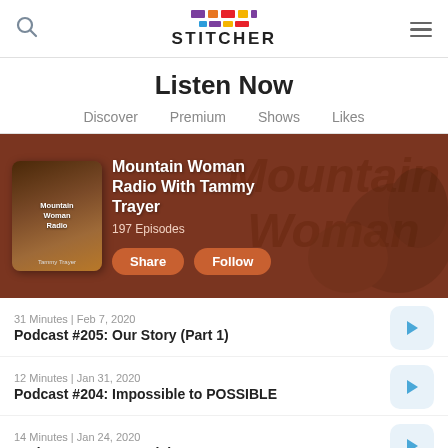Stitcher
Listen Now
Discover  Premium  Shows  Likes
[Figure (screenshot): Mountain Woman Radio With Tammy Trayer podcast hero banner with podcast artwork, title, episode count 197 Episodes, Share and Follow buttons]
31 Minutes | Feb 7, 2020
Podcast #205: Our Story (Part 1)
12 Minutes | Jan 31, 2020
Podcast #204: Impossible to POSSIBLE
14 Minutes | Jan 24, 2020
Podcast #203: Potential
37 Minutes | Jan 17, 2020
Podcast #202: ...